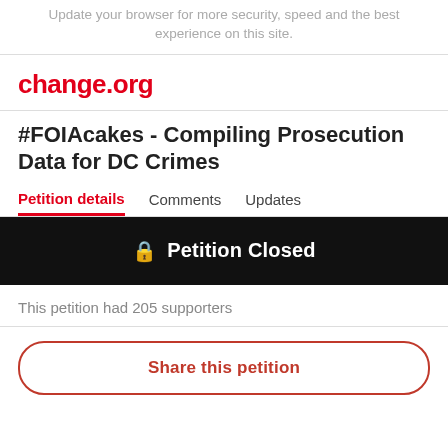Update your browser for more security, speed and the best experience on this site.
change.org
#FOIAcakes - Compiling Prosecution Data for DC Crimes
Petition details   Comments   Updates
🔒 Petition Closed
This petition had 205 supporters
Share this petition